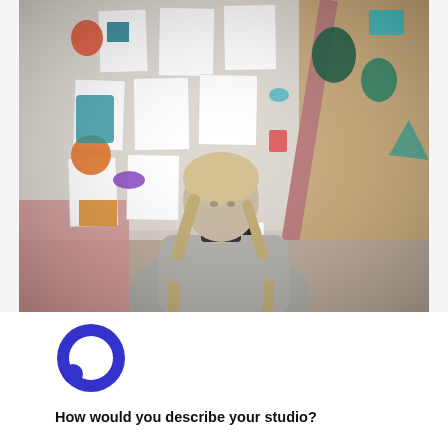[Figure (photo): A young woman with blonde braids wearing a grey sweatshirt sits in an art studio surrounded by colorful sketches and drawings pinned to a wall, with an easel visible beside her.]
[Figure (logo): A blue circle icon resembling a speech bubble or chat icon — a thick blue ring with a small filled circle cutout at lower left.]
How would you describe your studio?